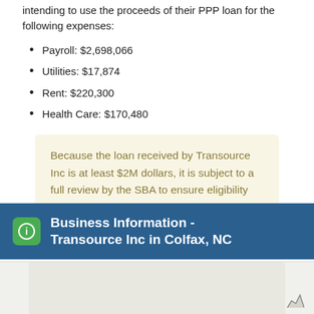intending to use the proceeds of their PPP loan for the following expenses:
Payroll: $2,698,066
Utilities: $17,874
Rent: $220,300
Health Care: $170,480
Because the loan received by Transource Inc is at least $2M dollars, it is subject to a full review by the SBA to ensure eligibility and compliance with PPP program requirements.
Business Information - Transource Inc in Colfax, NC
[Figure (map): Map thumbnail showing location of Transource Inc in Colfax, NC]